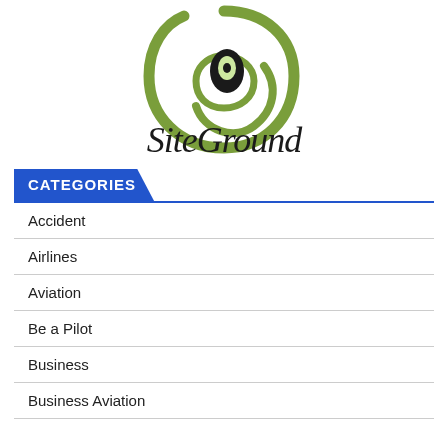[Figure (logo): SiteGround logo: green swirl with a dark oval eye shape above, and stylized 'SiteGround' text below in a handwritten/display font]
CATEGORIES
Accident
Airlines
Aviation
Be a Pilot
Business
Business Aviation